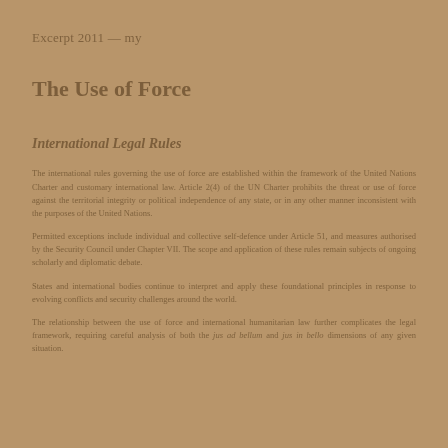Excerpt 2011 — my
The Use of Force
International Legal Rules
The international rules governing the use of force are established within the framework of the United Nations Charter and customary international law. Article 2(4) of the UN Charter prohibits the threat or use of force against the territorial integrity or political independence of any state, or in any other manner inconsistent with the purposes of the United Nations.
Permitted exceptions include individual and collective self-defence under Article 51, and measures authorised by the Security Council under Chapter VII. The scope and application of these rules remain subjects of ongoing scholarly and diplomatic debate.
States and international bodies continue to interpret and apply these foundational principles in response to evolving conflicts and security challenges around the world.
The relationship between the use of force and international humanitarian law further complicates the legal framework, requiring careful analysis of both the jus ad bellum and jus in bello dimensions of any given situation.